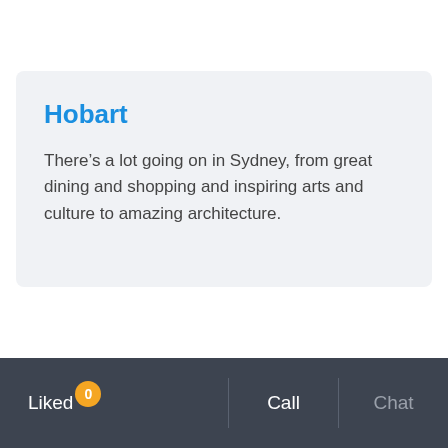Hobart
There’s a lot going on in Sydney, from great dining and shopping and inspiring arts and culture to amazing architecture.
Liked 0  |  Call  |  Chat